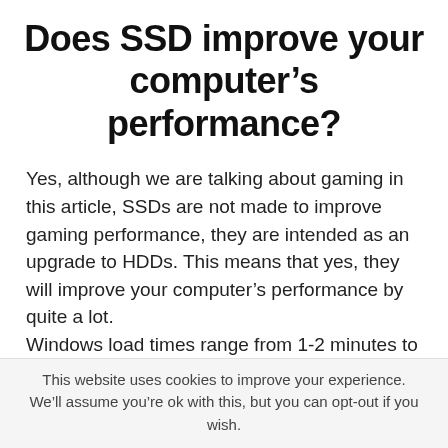Does SSD improve your computer’s performance?
Yes, although we are talking about gaming in this article, SSDs are not made to improve gaming performance, they are intended as an upgrade to HDDs. This means that yes, they will improve your computer’s performance by quite a lot.
Windows load times range from 1-2 minutes to under 30 seconds, game load times go
This website uses cookies to improve your experience. We’ll assume you’re ok with this, but you can opt-out if you wish.